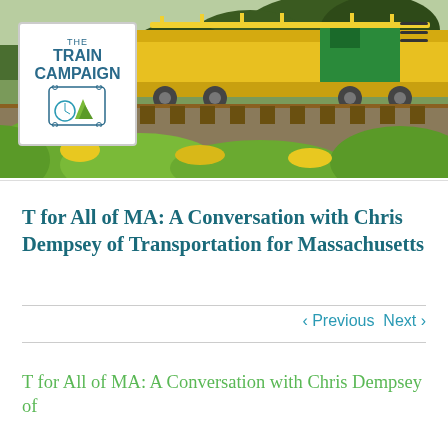[Figure (photo): Hero banner photograph of a yellow railway maintenance machine on train tracks, surrounded by green foliage and trees. The Train Campaign logo appears in the upper left corner over the image. A hamburger menu icon appears in the upper right.]
T for All of MA: A Conversation with Chris Dempsey of Transportation for Massachusetts
< Previous   Next >
T for All of MA: A Conversation with Chris Dempsey of